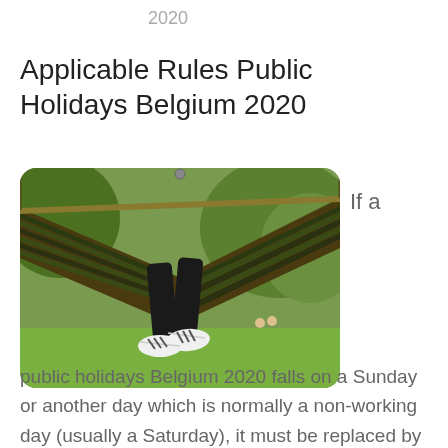2020
Applicable Rules Public Holidays Belgium 2020
[Figure (photo): Person relaxing in a hammock outdoors, feet with white sneakers visible, green foliage in background]
If a public holidays Belgium 2020 falls on a Sunday or another day which is normally a non-working day (usually a Saturday), it must be replaced by a replacement day on a